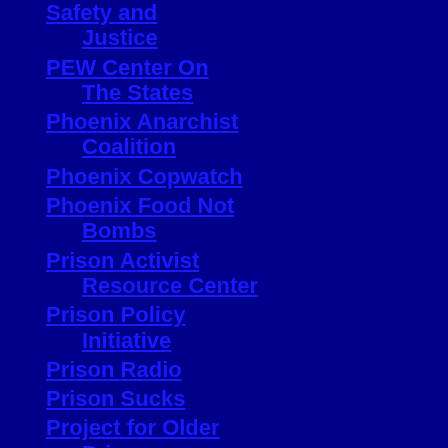Safety and Justice
PEW Center On The States
Phoenix Anarchist Coalition
Phoenix Copwatch
Phoenix Food Not Bombs
Prison Activist Resource Center
Prison Policy Initiative
Prison Radio
Prison Sucks
Project for Older Prisoners
Real Cost of Prisons
Rebecca Project for